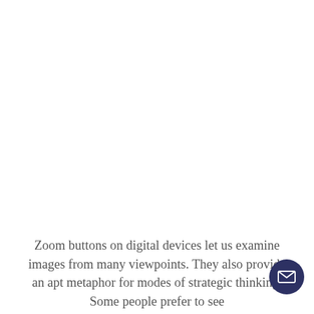Zoom buttons on digital devices let us examine images from many viewpoints. They also provide an apt metaphor for modes of strategic thinking. Some people prefer to see